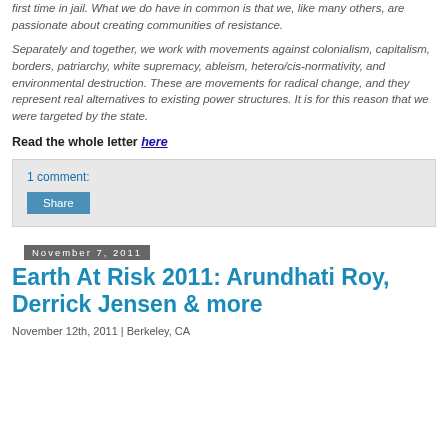first time in jail. What we do have in common is that we, like many others, are passionate about creating communities of resistance.
Separately and together, we work with movements against colonialism, capitalism, borders, patriarchy, white supremacy, ableism, hetero/cis-normativity, and environmental destruction. These are movements for radical change, and they represent real alternatives to existing power structures. It is for this reason that we were targeted by the state.
Read the whole letter here
1 comment:
Share
November 7, 2011
Earth At Risk 2011: Arundhati Roy, Derrick Jensen & more
November 12th, 2011 | Berkeley, CA